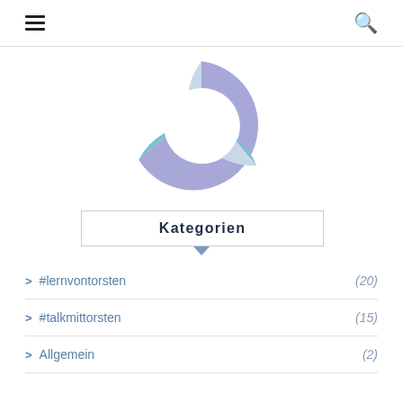☰  🔍
[Figure (donut-chart): A donut chart with three segments: large lavender/purple segment (majority), a medium blue segment (lower right), and a small white-gap between them. Categories: #lernvontorsten (20), #talkmittorsten (15), Allgemein (2).]
Kategorien
#lernvontorsten (20)
#talkmittorsten (15)
Allgemein (2)